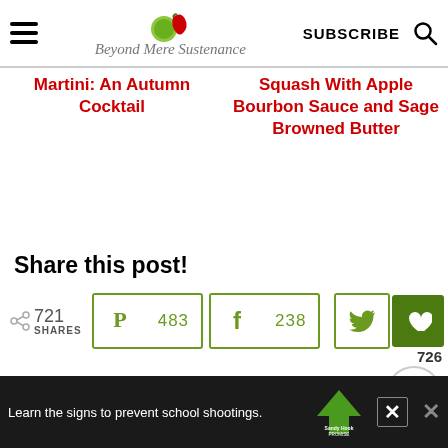Beyond Mere Sustenance — SUBSCRIBE (search icon)
Martini: An Autumn Cocktail
Squash With Apple Bourbon Sauce and Sage Browned Butter
Share this post!
721 SHARES — Pinterest 483, Facebook 238, Twitter, Heart 726
[Figure (screenshot): Sandy Hook Promise ad banner: Learn the signs to prevent school shootings.]